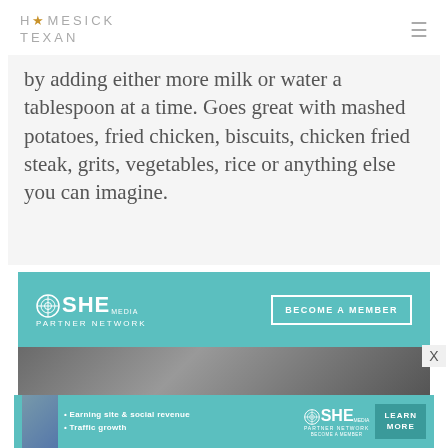HOMESICK TEXAN
by adding either more milk or water a tablespoon at a time. Goes great with mashed potatoes, fried chicken, biscuits, chicken fried steak, grits, vegetables, rice or anything else you can imagine.
[Figure (infographic): SHE Media Partner Network advertisement banner - teal background with SHE Media logo and 'BECOME A MEMBER' button]
[Figure (photo): Woman with glasses smiling, dark curly hair, background bokeh lights]
[Figure (infographic): SHE Media Partner Network bottom banner ad with bullet points: Earning site & social revenue, Traffic growth, and LEARN MORE button]